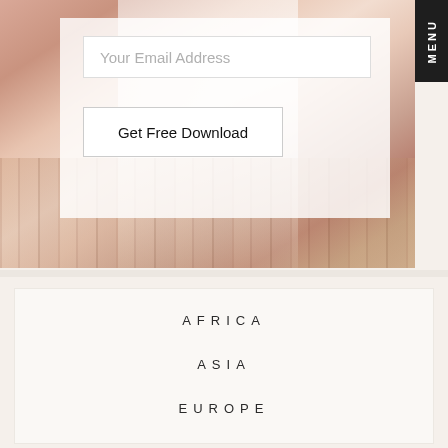[Figure (photo): Wedding or fashion photo showing a person in a white flowing dress/gown standing on a wooden floor with architectural columns in background, warm pink/rose tones]
Your Email Address
Get Free Download
MENU
AFRICA
ASIA
EUROPE